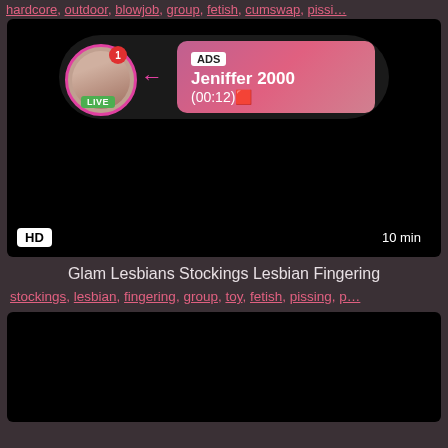hardcore, outdoor, blowjob, group, fetish, cumswap, pissi...
[Figure (screenshot): Video thumbnail with dark background, HD badge bottom-left, 10 min badge bottom-right, and an ad overlay showing a live user named Jeniffer 2000 with a (00:12) timer]
Glam Lesbians Stockings Lesbian Fingering
stockings, lesbian, fingering, group, toy, fetish, pissing, p...
[Figure (screenshot): Second video thumbnail, dark/black background, partially visible]